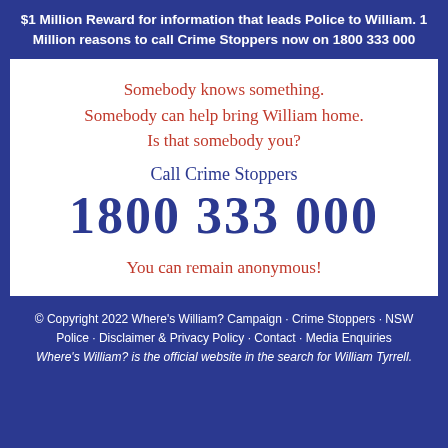$1 Million Reward for information that leads Police to William. 1 Million reasons to call Crime Stoppers now on 1800 333 000
Somebody knows something. Somebody can help bring William home. Is that somebody you?
Call Crime Stoppers
1800 333 000
You can remain anonymous!
© Copyright 2022 Where's William? Campaign · Crime Stoppers · NSW Police · Disclaimer & Privacy Policy · Contact · Media Enquiries Where's William? is the official website in the search for William Tyrrell.